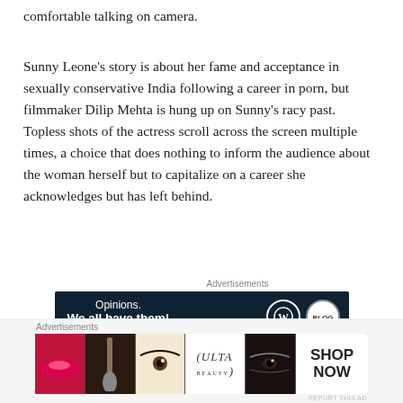comfortable talking on camera.
Sunny Leone's story is about her fame and acceptance in sexually conservative India following a career in porn, but filmmaker Dilip Mehta is hung up on Sunny's racy past. Topless shots of the actress scroll across the screen multiple times, a choice that does nothing to inform the audience about the woman herself but to capitalize on a career she acknowledges but has left behind.
[Figure (screenshot): Advertisement banner with dark navy background reading 'Opinions. We all have them!' with WordPress and blog logo circles on the right.]
Mehta makes a bizarre choice during a segment about
[Figure (screenshot): Advertisement banner showing beauty/makeup images including lips, brushes, eye, ULTA beauty logo, and eyes, with 'SHOP NOW' on the right side.]